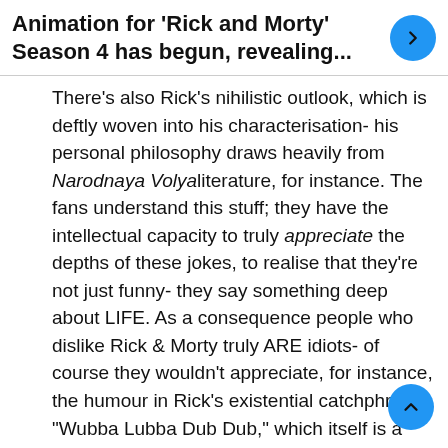Animation for ‘Rick and Morty’ Season 4 has begun, revealing...
There’s also Rick’s nihilistic outlook, which is deftly woven into his characterisation- his personal philosophy draws heavily from Narodnaya Volyaliterature, for instance. The fans understand this stuff; they have the intellectual capacity to truly appreciate the depths of these jokes, to realise that they’re not just funny- they say something deep about LIFE. As a consequence people who dislike Rick & Morty truly ARE idiots- of course they wouldn’t appreciate, for instance, the humour in Rick’s existential catchphrase “Wubba Lubba Dub Dub,” which itself is a cryptic reference to Turgenev’s Russian...